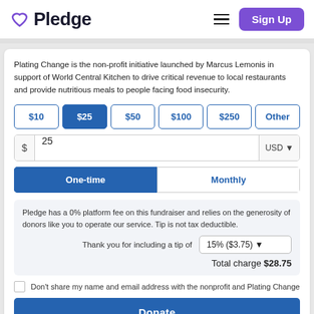Pledge — Sign Up
Plating Change is the non-profit initiative launched by Marcus Lemonis in support of World Central Kitchen to drive critical revenue to local restaurants and provide nutritious meals to people facing food insecurity.
Amount buttons: $10, $25 (selected), $50, $100, $250, Other
Input: $ 25 USD
Frequency: One-time (selected), Monthly
Pledge has a 0% platform fee on this fundraiser and relies on the generosity of donors like you to operate our service. Tip is not tax deductible.
Thank you for including a tip of 15% ($3.75)
Total charge $28.75
Don't share my name and email address with the nonprofit and Plating Change
Donate